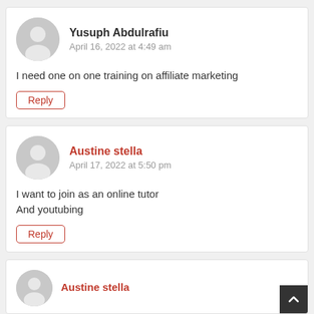Yusuph Abdulrafiu
April 16, 2022 at 4:49 am
I need one on one training on affiliate marketing
Reply
Austine stella
April 17, 2022 at 5:50 pm
I want to join as an online tutor
And youtubing
Reply
Austine stella